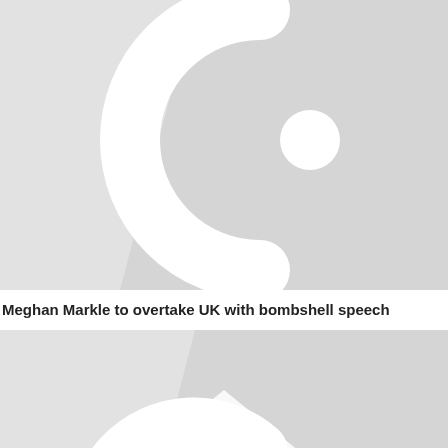[Figure (illustration): Placeholder image with a stylized white letter or icon on a light grey background with a shadow effect, resembling a media/news website thumbnail placeholder]
Meghan Markle to overtake UK with bombshell speech
[Figure (illustration): Second placeholder image with a stylized white arrow/icon shape on a light grey background with a shadow effect, resembling a media/news website thumbnail placeholder]